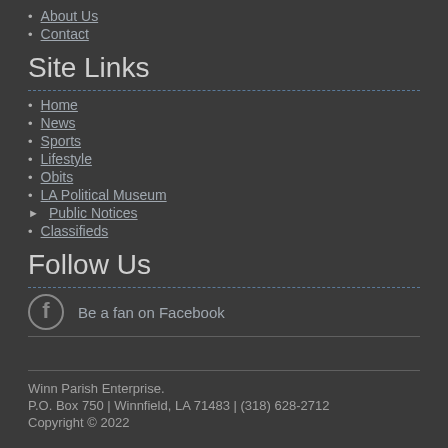About Us
Contact
Site Links
Home
News
Sports
Lifestyle
Obits
LA Political Museum
Public Notices
Classifieds
Follow Us
Be a fan on Facebook
Winn Parish Enterprise.
P.O. Box 750 | Winnfield, LA 71483 | (318) 628-2712
Copyright © 2022